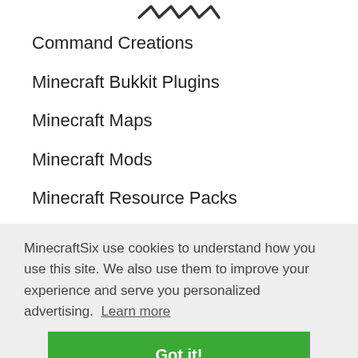[Figure (logo): Zigzag/wave logo mark at top center]
Command Creations
Minecraft Bukkit Plugins
Minecraft Maps
Minecraft Mods
Minecraft Resource Packs
Minecraft Seeds
MinecraftSix use cookies to understand how you use this site. We also use them to improve your experience and serve you personalized advertising.  Learn more
Got it!
notifications of new content by email.